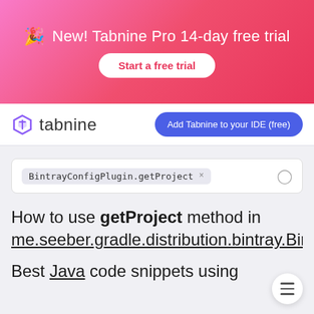[Figure (infographic): Pink/red gradient banner advertisement for Tabnine Pro 14-day free trial with party popper icon and 'Start a free trial' button]
[Figure (logo): Tabnine logo with purple hexagon icon and 'tabnine' wordmark, with 'Add Tabnine to your IDE (free)' blue button]
BintrayConfigPlugin.getProject ×
How to use getProject method in me.seeber.gradle.distribution.bintray.BintrayConfigPlugin
Best Java code snippets using